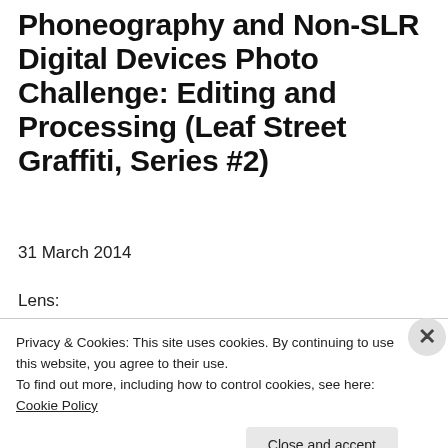Phoneography and Non-SLR Digital Devices Photo Challenge: Editing and Processing (Leaf Street Graffiti, Series #2)
31 March 2014
Lens:
[Figure (photo): Partial view of a photo showing dark shapes, partially obscured by the cookie consent banner]
Privacy & Cookies: This site uses cookies. By continuing to use this website, you agree to their use.
To find out more, including how to control cookies, see here: Cookie Policy
Close and accept